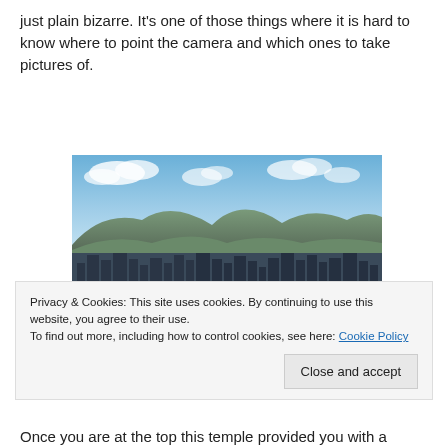just plain bizarre. It's one of those things where it is hard to know where to point the camera and which ones to take pictures of.
[Figure (photo): Cityscape with mountains in the background under a blue sky with clouds. High-rise buildings in the foreground, green mountains behind.]
Privacy & Cookies: This site uses cookies. By continuing to use this website, you agree to their use. To find out more, including how to control cookies, see here: Cookie Policy
Once you are at the top this temple provided you with a